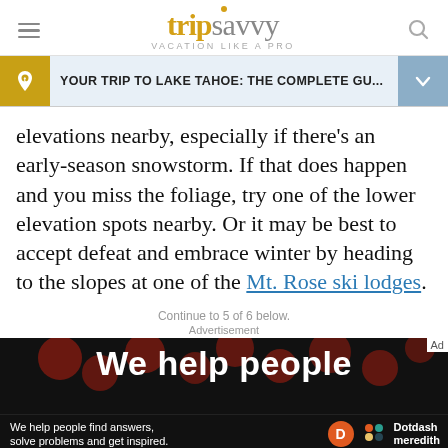tripsavvy — VACATION LIKE A PRO
YOUR TRIP TO LAKE TAHOE: THE COMPLETE GU...
elevations nearby, especially if there's an early-season snowstorm. If that does happen and you miss the foliage, try one of the lower elevation spots nearby. Or it may be best to accept defeat and embrace winter by heading to the slopes at one of the Mt. Rose ski lodges.
Continue to 5 of 6 below.
Advertisement
[Figure (screenshot): Advertisement banner for Dotdash Meredith showing 'We help people' text on dark background with red dots pattern]
We help people find answers, solve problems and get inspired. Dotdash meredith